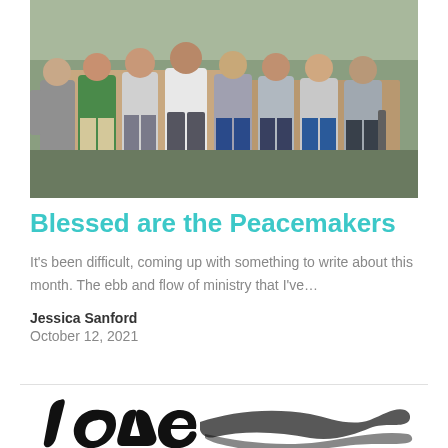[Figure (photo): Group photo of several young men standing together outdoors, appearing to be a ministry or youth group]
Blessed are the Peacemakers
It’s been difficult, coming up with something to write about this month. The ebb and flow of ministry that I’ve…
Jessica Sanford
October 12, 2021
[Figure (illustration): Large stylized decorative text reading 'love' in black brush script lettering, partially visible at bottom of page]